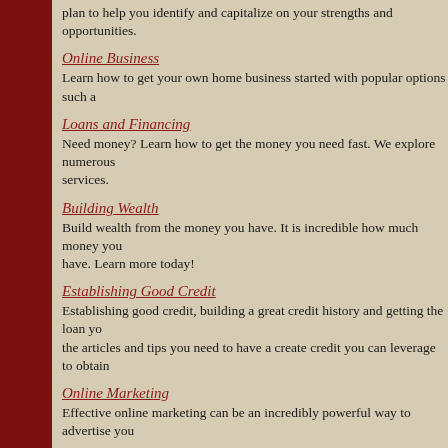plan to help you identify and capitalize on your strengths and opportunities.
Online Business
Learn how to get your own home business started with popular options such a
Loans and Financing
Need money? Learn how to get the money you need fast. We explore numerous services.
Building Wealth
Build wealth from the money you have. It is incredible how much money you have. Learn more today!
Establishing Good Credit
Establishing good credit, building a great credit history and getting the loan yo the articles and tips you need to have a create credit you can leverage to obtain
Online Marketing
Effective online marketing can be an incredibly powerful way to advertise you
Online Business
Ever wondered if you were the right person for starting an online business? Ev willingness to succeed you can succeed in the ever growing world of online co business with our Softkart resources.
Employment Tips
Employment tips and tricks to get you that position you have always wanted a
Loans
We specialize in informing you on how to best apply for car, motorcycle and g